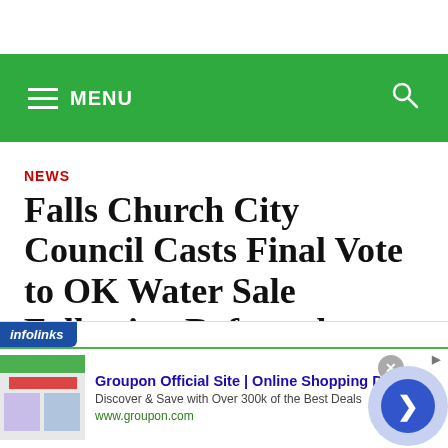MENU
NEWS
Falls Church City Council Casts Final Vote to OK Water Sale Following Referendum
November 12, 2013 11:32 PM
[Figure (screenshot): Infolinks advertisement overlay showing Groupon Official Site | Online Shopping Deals with thumbnail and navigation arrow]